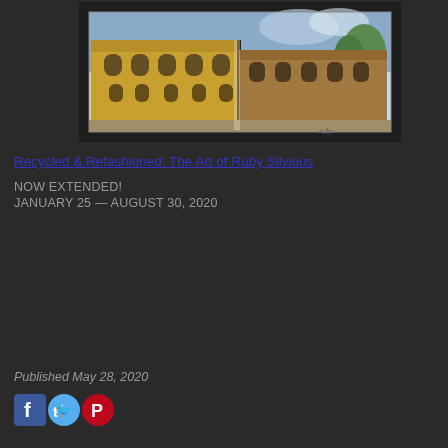[Figure (illustration): Watercolor/sketch painting of two buildings side by side — a yellow ornate building on the left and a brownstone building on the right — displayed on a dark background]
Recycled & Refashioned: The Art of Ruby Silvious
NOW EXTENDED!
JANUARY 25 — AUGUST 30, 2020
Published May 28, 2020
[Figure (other): Social media share icons: Facebook, Twitter, Pinterest]